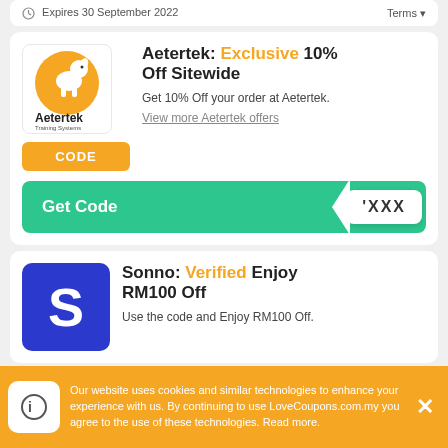Expires 30 September 2022    Terms
Aetertek: Exclusive 10% Off Sitewide
Get 10% Off your order at Aetertek.
View more Aetertek offers
CODE
Get Code    'XXX
Sonno: Verified Enjoy RM100 Off
Use the code and Enjoy RM100 Off.
Our website uses cookies and similar technologies to enhance your experience with us. By continuing to use LoveCoupons.com.my you agree to the use of these technologies. Read more.